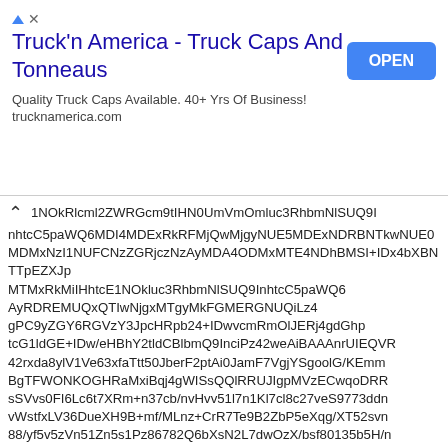[Figure (other): Advertisement banner for Truck'n America - Truck Caps And Tonneaus with an OPEN button]
1NOkRlcml2ZWRGcm9tIHN0UmVmOmluc3RhbmNlSUQ9InhtcC5paWQ6NDExMDExRkRFMjQwMjgyNUE5MDExNDRBNTkwNUE0MDMxNzI1NUFCNzZGRjczNzAyMDA4ODMxMTE4NDhBMSI+IDx4bXBNTTpEZXJpdmVkRnJvbSBzdFJlZjppbnN0YW5jZUlEPSJ4bXAuaWlkOjQxMTAxMUZERTI0MDI4MjVBOTAxMTQ0QTU5MDVBNDAzMTcyNTVBQjc2RkY3MzcwMjAwODgzMTExODQ4QTEiPiA8eG1wTU06RGVyaXZlZEZyb20gc3RSZWmxOaW5zdGFuY2VJRD0ieG1wLmlpZDo0MTEwMTFGREUyNDAyODI1QTkwMTE0NEE1OTA1QTQwMzE3MjU1QUI3NkZGNzM3MDIwMDg4MzExMTg0OEExIj4gPHhtcE1NOkRlcml2ZWRGcm9tIHN0UmVmOmluc3RhbmNlSUQ9InhtcC5paWQ6NDExMDExRkRFMjQwMjgyNUE5MDExNDRBNTkwNUE0MDMxNzI1NUFCNzZGRjczNzAyMDA4ODMxMTE4NDhBMSI+